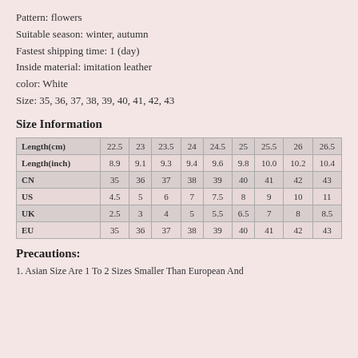Pattern: flowers
Suitable season: winter, autumn
Fastest shipping time: 1 (day)
Inside material: imitation leather
color: White
Size: 35, 36, 37, 38, 39, 40, 41, 42, 43
Size Information
| Length(cm) | 22.5 | 23 | 23.5 | 24 | 24.5 | 25 | 25.5 | 26 | 26.5 |
| --- | --- | --- | --- | --- | --- | --- | --- | --- | --- |
| Length(inch) | 8.9 | 9.1 | 9.3 | 9.4 | 9.6 | 9.8 | 10.0 | 10.2 | 10.4 |
| CN | 35 | 36 | 37 | 38 | 39 | 40 | 41 | 42 | 43 |
| US | 4.5 | 5 | 6 | 7 | 7.5 | 8 | 9 | 10 | 11 |
| UK | 2.5 | 3 | 4 | 5 | 5.5 | 6.5 | 7 | 8 | 8.5 |
| EU | 35 | 36 | 37 | 38 | 39 | 40 | 41 | 42 | 43 |
Precautions:
1. Asian Size Are 1 To 2 Sizes Smaller Than European And...